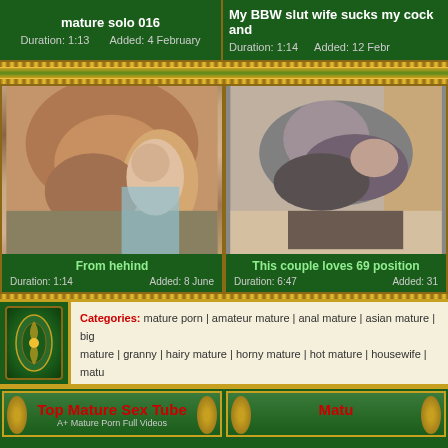mature solo 016 | Duration: 1:13 | Added: 4 February
My BBW slut wife sucks my cock and... | Duration: 1:14 | Added: 12 February
[Figure (photo): Thumbnail image left - From hehind video]
[Figure (photo): Thumbnail image right - This couple loves 69 position video]
From hehind | Duration: 1:14 | Added: 8 June
This couple loves 69 position | Duration: 6:47 | Added: 31
Categories: mature porn | amateur mature | anal mature | asian mature | big mature | granny | hairy mature | horny mature | hot mature | housewife | matu... | mature lady | mature lesbian | mature masturbating | mom | mature pussy | ... | mature woman | milf | mom a...
Top Mature Sex Tube | A+ Mature Porn Full Videos
Matu...